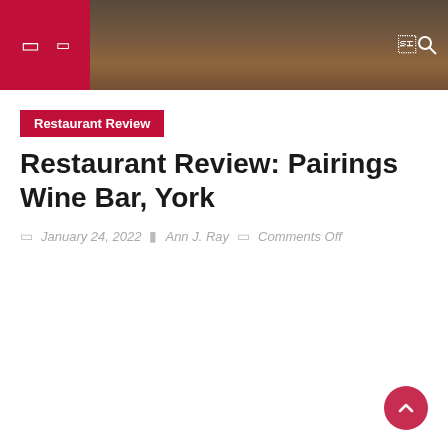Restaurant Review blog header with navigation icons and photo background
Restaurant Review
Restaurant Review: Pairings Wine Bar, York
January 24, 2022  |  Ann J. Ray  |  Comments Off